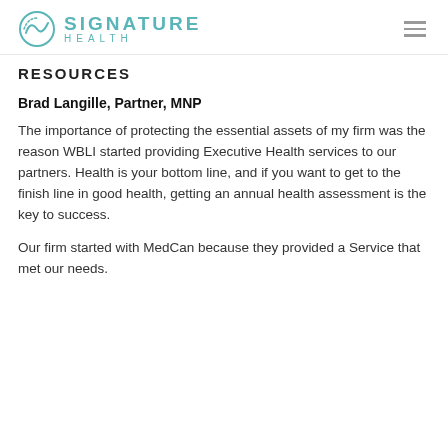SIGNATURE HEALTH
RESOURCES
Brad Langille, Partner, MNP
The importance of protecting the essential assets of my firm was the reason WBLI started providing Executive Health services to our partners. Health is your bottom line, and if you want to get to the finish line in good health, getting an annual health assessment is the key to success.
Our firm started with MedCan because they provided a Service that met our needs.